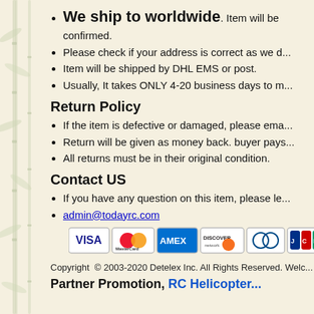We ship to worldwide. Item will be confirmed.
Please check if your address is correct as we d...
Item will be shipped by DHL EMS or post.
Usually, It takes ONLY 4-20 business days to m...
Return Policy
If the item is defective or damaged, please ema...
Return will be given as money back. buyer pays...
All returns must be in their original condition.
Contact US
If you have any question on this item, please le...
admin@todayrc.com
[Figure (other): Payment method logos: VISA, MasterCard, AMEX, Discover, Diners Club, JCB, PayPal]
Copyright © 2003-2020 Detelex Inc. All Rights Reserved. Welc...
Partner Promotion  RC Helicopter...